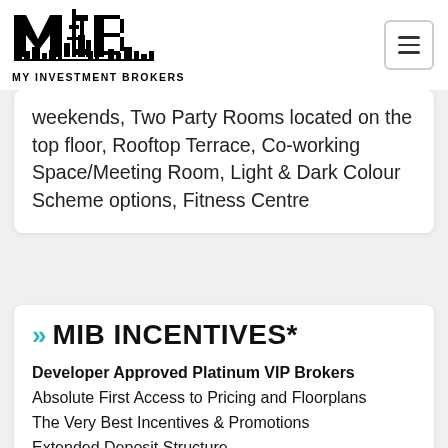MY INVESTMENT BROKERS
weekends, Two Party Rooms located on the top floor, Rooftop Terrace, Co-working Space/Meeting Room, Light & Dark Colour Scheme options, Fitness Centre
MIB INCENTIVES*
Developer Approved Platinum VIP Brokers
Absolute First Access to Pricing and Floorplans
The Very Best Incentives & Promotions
Extended Deposit Structure
Capped Development Levies